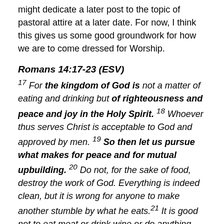might dedicate a later post to the topic of pastoral attire at a later date. For now, I think this gives us some good groundwork for how we are to come dressed for Worship.
Romans 14:17-23 (ESV)
17 For the kingdom of God is not a matter of eating and drinking but of righteousness and peace and joy in the Holy Spirit. 18 Whoever thus serves Christ is acceptable to God and approved by men. 19 So then let us pursue what makes for peace and for mutual upbuilding. 20 Do not, for the sake of food, destroy the work of God. Everything is indeed clean, but it is wrong for anyone to make another stumble by what he eats.21 It is good not to eat meat or drink wine or do anything that causes your brother to stumble. 22 The faith that you have, keep between yourself and God. Blessed is the one who has no reason to pass judgment on himself for what he